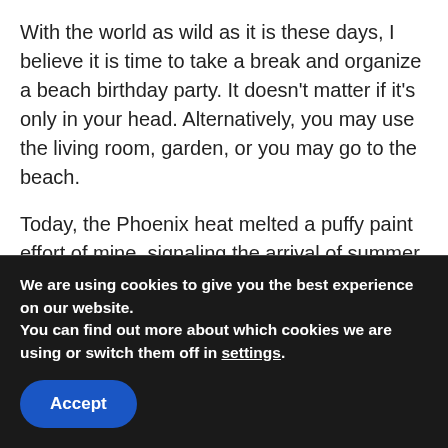With the world as wild as it is these days, I believe it is time to take a break and organize a beach birthday party. It doesn't matter if it's only in your head. Alternatively, you may use the living room, garden, or you may go to the beach.
Today, the Phoenix heat melted a puffy paint effort of mine, signaling the arrival of summer. So, let's get started. Let's get organized, diligent, and clear on how we want our beach party to come together.
We are using cookies to give you the best experience on our website.
You can find out more about which cookies we are using or switch them off in settings.
Accept